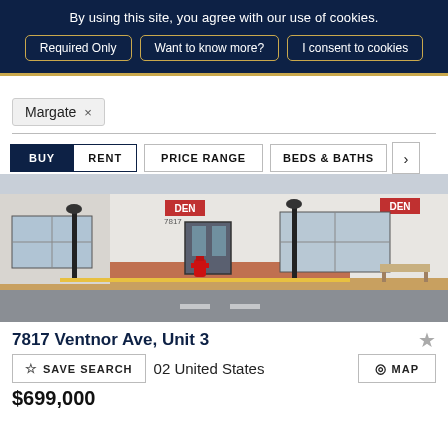By using this site, you agree with our use of cookies.
Required Only
Want to know more?
I consent to cookies
Margate ×
BUY  RENT  PRICE RANGE  BEDS & BATHS  >
[Figure (photo): Street-level photo of a commercial building (with 'DEN' signage) in Margate, NJ, showing a white facade, large windows, a red fire hydrant, lamp post, and brick sidewalk.]
7817 Ventnor Ave, Unit 3
02 United States
SAVE SEARCH
MAP
$699,000